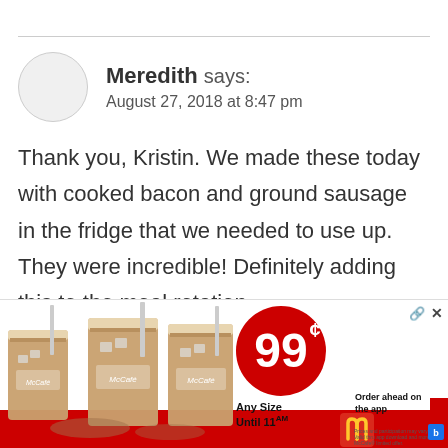Meredith says: August 27, 2018 at 8:47 pm
Thank you, Kristin. We made these today with cooked bacon and ground sausage in the fridge that we needed to use up. They were incredible! Definitely adding this to the meal rotation.
Kristin Ma... says:
[Figure (photo): McDonald's McCafe advertisement showing three iced coffee drinks, 99 cent price bubble, 'Any Size Until 11AM', 'Order ahead on the app' with McDonald's logo]